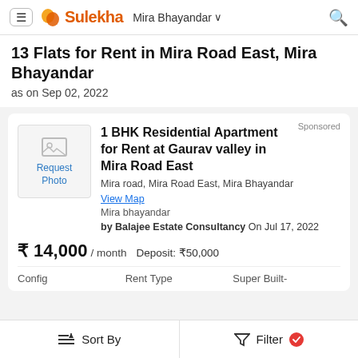Sulekha | Mira Bhayandar
13 Flats for Rent in Mira Road East, Mira Bhayandar
as on Sep 02, 2022
Sponsored
1 BHK Residential Apartment for Rent at Gaurav valley in Mira Road East
Mira road, Mira Road East, Mira Bhayandar
View Map
Mira bhayandar
by Balajee Estate Consultancy On Jul 17, 2022
₹ 14,000 / month   Deposit: ₹50,000
Config   Rent Type   Super Built-
Sort By   Filter